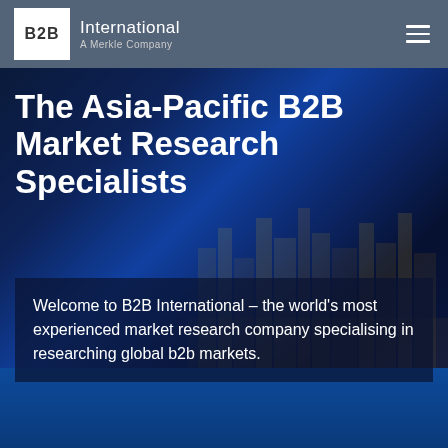B2B International – A Merkle Company
The Asia-Pacific B2B Market Research Specialists
Welcome to B2B International – the world's most experienced market research company specialising in researching global b2b markets.